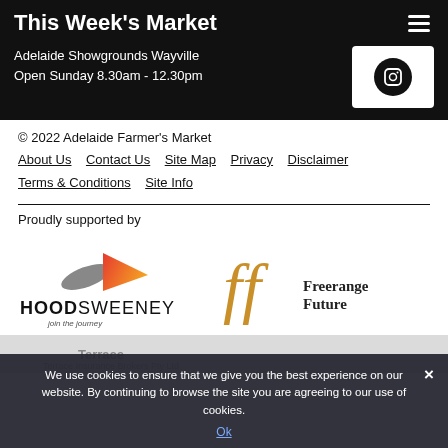This Week's Market
Adelaide Showgrounds Wayville
Open Sunday 8.30am - 12.30pm
© 2022 Adelaide Farmer's Market
About Us   Contact Us   Site Map   Privacy   Disclaimer   Terms & Conditions   Site Info
Proudly supported by
[Figure (logo): HoodSweeney logo - abstract shapes with orange/red arrow and grey oval, text HOODSWEENEY join the journey]
[Figure (logo): Freerange Future logo - golden ff ligature with text Freerange Future]
We use cookies to ensure that we give you the best experience on our website. By continuing to browse the site you are agreeing to our use of cookies.
Ok